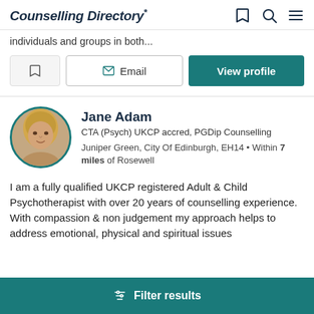Counselling Directory
individuals and groups in both...
Email | View profile
Jane Adam
CTA (Psych) UKCP accred, PGDip Counselling
Juniper Green, City Of Edinburgh, EH14 • Within 7 miles of Rosewell
I am a fully qualified UKCP registered Adult & Child Psychotherapist with over 20 years of counselling experience. With compassion & non judgement my approach helps to address emotional, physical and spiritual issues
Filter results